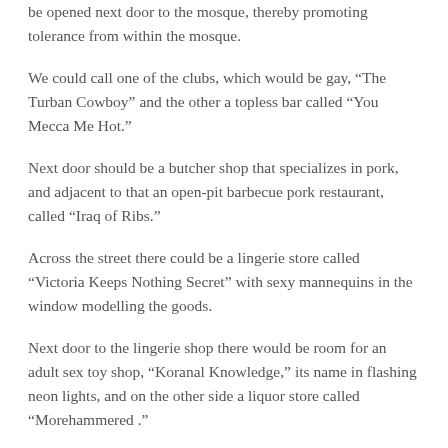be opened next door to the mosque, thereby promoting tolerance from within the mosque.
We could call one of the clubs, which would be gay, “The Turban Cowboy” and the other a topless bar called “You Mecca Me Hot.”
Next door should be a butcher shop that specializes in pork, and adjacent to that an open-pit barbecue pork restaurant, called “Iraq of Ribs.”
Across the street there could be a lingerie store called “Victoria Keeps Nothing Secret” with sexy mannequins in the window modelling the goods.
Next door to the lingerie shop there would be room for an adult sex toy shop, “Koranal Knowledge,” its name in flashing neon lights, and on the other side a liquor store called “Morehammered .”